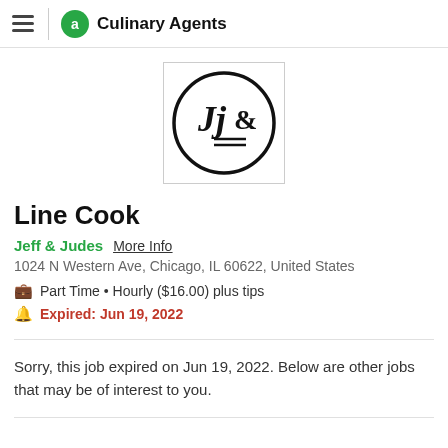a Culinary Agents
[Figure (logo): Jeff & Judes restaurant logo — circle with stylized JJ& text inside]
Line Cook
Jeff & Judes  More Info
1024 N Western Ave, Chicago, IL 60622, United States
Part Time • Hourly ($16.00) plus tips
Expired: Jun 19, 2022
Sorry, this job expired on Jun 19, 2022. Below are other jobs that may be of interest to you.